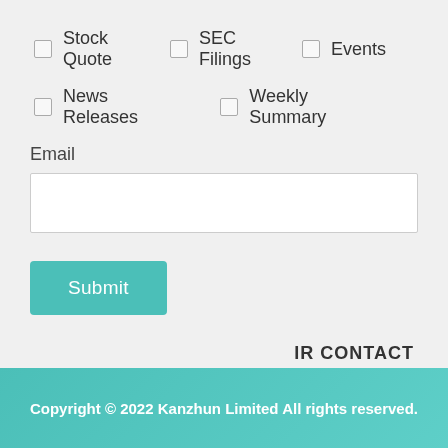Stock Quote
SEC Filings
Events
News Releases
Weekly Summary
Email
Submit
IR CONTACT
BOSS Zhipin (Kanzhun Limited)
Investor Relations
Email: ir@kanzhun.com
Copyright © 2022 Kanzhun Limited All rights reserved.